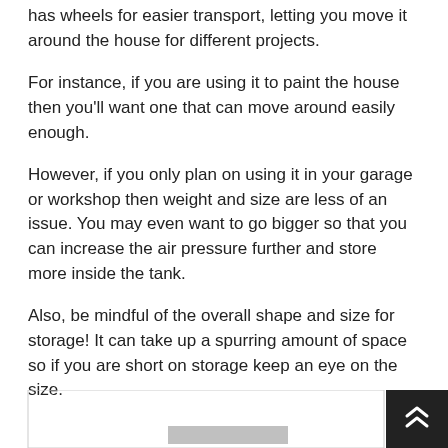has wheels for easier transport, letting you move it around the house for different projects.
For instance, if you are using it to paint the house then you'll want one that can move around easily enough.
However, if you only plan on using it in your garage or workshop then weight and size are less of an issue. You may even want to go bigger so that you can increase the air pressure further and store more inside the tank.
Also, be mindful of the overall shape and size for storage! It can take up a spurring amount of space so if you are short on storage keep an eye on the size.
[Figure (other): Bottom navigation area with a gray bar and a dark scroll-to-top button with double chevron icon]